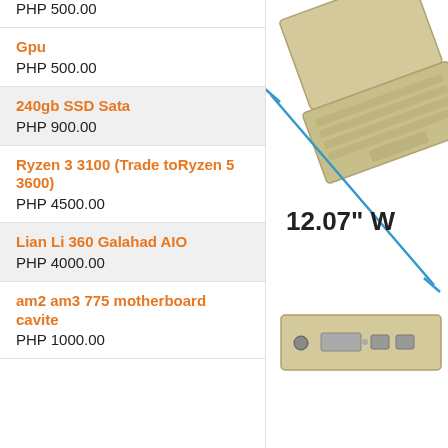PHP 500.00
Gpu
PHP 500.00
240gb SSD Sata
PHP 900.00
Ryzen 3 3100 (Trade toRyzen 5 3600)
PHP 4500.00
Lian Li 360 Galahad AIO
PHP 4000.00
am2 am3 775 motherboard cavite
PHP 1000.00
[Figure (photo): Laptop shown from top-open angle with blue dimension line and label '12.07" W', plus side view showing ports]